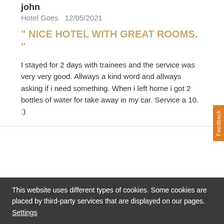john
Hotel Goes  12/05/2021
" NICE HOTEL WITH GREAT ROOMS. "
I stayed for 2 days with trainees and the service was very very good. Allways a kind word and allways asking if i need something. When i left home i got 2 bottles of water for take away in my car. Service a 10. :)
Feedback
Tripadvisor
Van der Valk Hotel Goes
This website uses different types of cookies. Some cookies are placed by third-party services that are displayed on our pages. Settings